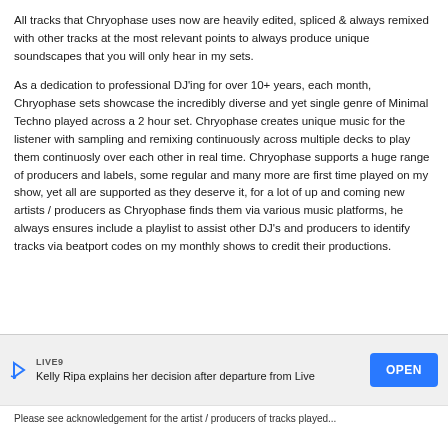All tracks that Chryophase uses now are heavily edited, spliced & always remixed with other tracks at the most relevant points to always produce unique soundscapes that you will only hear in my sets.
As a dedication to professional DJ'ing for over 10+ years, each month, Chryophase sets showcase the incredibly diverse and yet single genre of Minimal Techno played across a 2 hour set. Chryophase creates unique music for the listener with sampling and remixing continuously across multiple decks to play them continuosly over each other in real time. Chryophase supports a huge range of producers and labels, some regular and many more are first time played on my show, yet all are supported as they deserve it, for a lot of up and coming new artists / producers as Chryophase finds them via various music platforms, he always ensures include a playlist to assist other DJ's and producers to identify tracks via beatport codes on my monthly shows to credit their productions.
[Figure (infographic): Advertisement banner: LIVE9 logo, headline 'Kelly Ripa explains her decision after departure from Live', with a blue OPEN button.]
Please see acknowledgement for the artist / producers of tracks played...